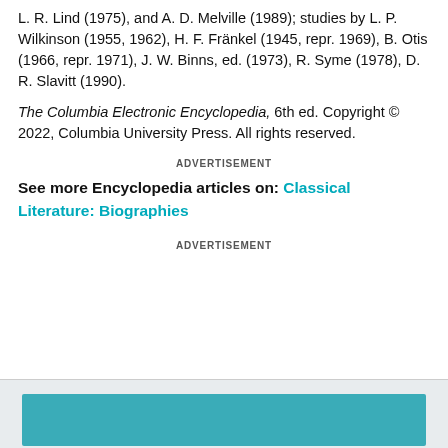L. R. Lind (1975), and A. D. Melville (1989); studies by L. P. Wilkinson (1955, 1962), H. F. Fränkel (1945, repr. 1969), B. Otis (1966, repr. 1971), J. W. Binns, ed. (1973), R. Syme (1978), D. R. Slavitt (1990).
The Columbia Electronic Encyclopedia, 6th ed. Copyright © 2022, Columbia University Press. All rights reserved.
ADVERTISEMENT
See more Encyclopedia articles on: Classical Literature: Biographies
ADVERTISEMENT
[Figure (photo): Bottom section with teal/cyan colored image area on a light grey background]